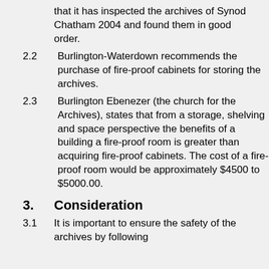that it has inspected the archives of Synod Chatham 2004 and found them in good order.
2.2    Burlington-Waterdown recommends the purchase of fire-proof cabinets for storing the archives.
2.3    Burlington Ebenezer (the church for the Archives), states that from a storage, shelving and space perspective the benefits of a building a fire-proof room is greater than acquiring fire-proof cabinets. The cost of a fire-proof room would be approximately $4500 to $5000.00.
3.    Consideration
3.1    It is important to ensure the safety of the archives by following